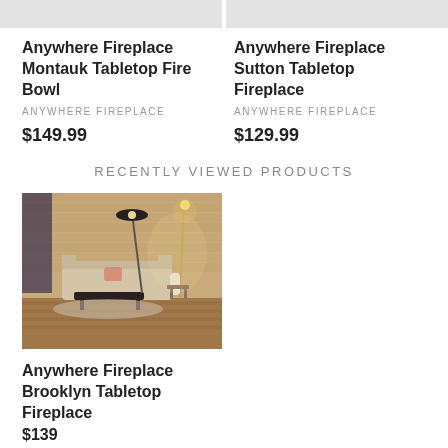[Figure (photo): Partial cropped product image (left) - grey/white background]
[Figure (photo): Partial cropped product image (right) - grey/white background]
Anywhere Fireplace Montauk Tabletop Fire Bowl
ANYWHERE FIREPLACE
$149.99
Anywhere Fireplace Sutton Tabletop Fireplace
ANYWHERE FIREPLACE
$129.99
RECENTLY VIEWED PRODUCTS
[Figure (photo): Living room interior with wood-paneled wall, sofa, coffee table, floor lamps, warm lighting]
Anywhere Fireplace Brooklyn Tabletop Fireplace
$139